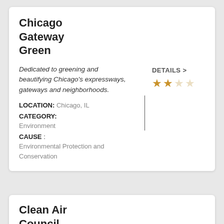Chicago Gateway Green
Dedicated to greening and beautifying Chicago's expressways, gateways and neighborhoods.
LOCATION: Chicago, IL
CATEGORY: Environment
CAUSE : Environmental Protection and Conservation
DETAILS >
[Figure (other): Star rating: 2 out of 4 stars (2 filled gold stars, 2 empty stars)]
Clean Air Council